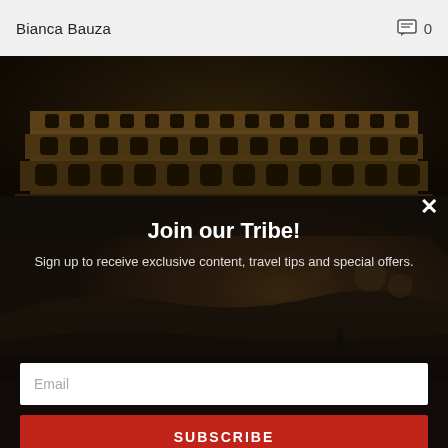Bianca Bauza
[Figure (photo): Dark atmospheric photo of the Colosseum in Rome at night with dramatic lighting]
[Figure (photo): Landscape photo of a lone figure standing on a hillside with warm golden light in the background]
Join our Tribe!
Sign up to receive exclusive content, travel tips and special offers.
Email
SUBSCRIBE